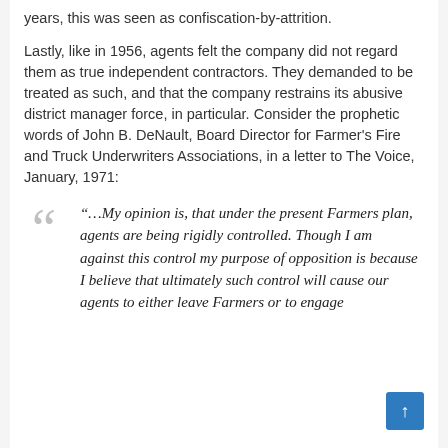years, this was seen as confiscation-by-attrition.
Lastly, like in 1956, agents felt the company did not regard them as true independent contractors. They demanded to be treated as such, and that the company restrains its abusive district manager force, in particular. Consider the prophetic words of John B. DeNault, Board Director for Farmer's Fire and Truck Underwriters Associations, in a letter to The Voice, January, 1971:
“…My opinion is, that under the present Farmers plan, agents are being rigidly controlled. Though I am against this control my purpose of opposition is because I believe that ultimately such control will cause our agents to either leave Farmers or to engage